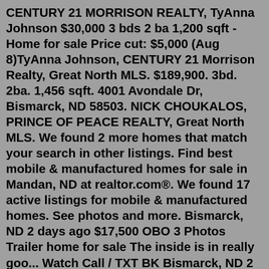CENTURY 21 MORRISON REALTY, TyAnna Johnson $30,000 3 bds 2 ba 1,200 sqft - Home for sale Price cut: $5,000 (Aug 8)TyAnna Johnson, CENTURY 21 Morrison Realty, Great North MLS. $189,900. 3bd. 2ba. 1,456 sqft. 4001 Avondale Dr, Bismarck, ND 58503. NICK CHOUKALOS, PRINCE OF PEACE REALTY, Great North MLS. We found 2 more homes that match your search in other listings. Find best mobile & manufactured homes for sale in Mandan, ND at realtor.com®. We found 17 active listings for mobile & manufactured homes. See photos and more. Bismarck, ND 2 days ago $17,500 OBO 3 Photos Trailer home for sale The inside is in really goo... Watch Call / TXT BK Bismarck, ND 2 days ago $16,000 23 Photos 1986 Windsor 16 by 80 single wide mobile home in Ce... Watch Call / TXT 4 People Watching suremiss3@icloud.com Garrison, ND 3 days ago $30,000 OBO MobileHome.net has 46 Mobile Homes for Sale near Bass Lake, CA, including manufactured homes, modular homes and